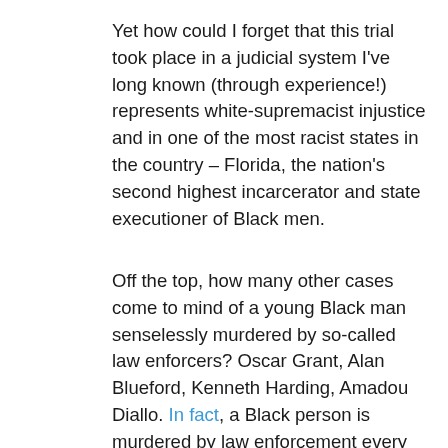Yet how could I forget that this trial took place in a judicial system I've long known (through experience!) represents white-supremacist injustice and in one of the most racist states in the country – Florida, the nation's second highest incarcerator and state executioner of Black men.
Off the top, how many other cases come to mind of a young Black man senselessly murdered by so-called law enforcers? Oscar Grant, Alan Blueford, Kenneth Harding, Amadou Diallo. In fact, a Black person is murdered by law enforcement every 28 hours. Are their lives valued?
An endangered, stereotyped group, Black and Brown male human beings top the prison populations and those slated for state murder. Black women and